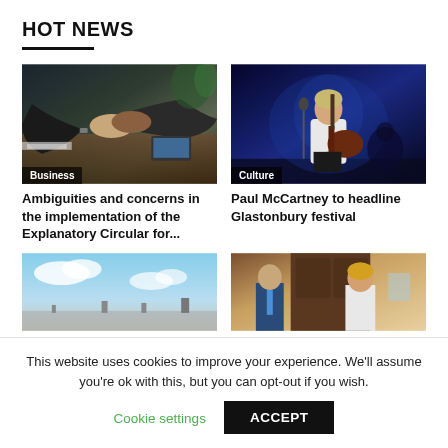HOT NEWS
[Figure (photo): Business handshake over a conference table with laptop and documents]
[Figure (photo): Paul McCartney performing on stage with guitar under blue stage lighting]
Ambiguities and concerns in the implementation of the Explanatory Circular for...
Paul McCartney to headline Glastonbury festival
[Figure (photo): Sky with clouds over a flat landscape]
[Figure (photo): Two politicians standing outside a building]
This website uses cookies to improve your experience. We'll assume you're ok with this, but you can opt-out if you wish.
Cookie settings
ACCEPT